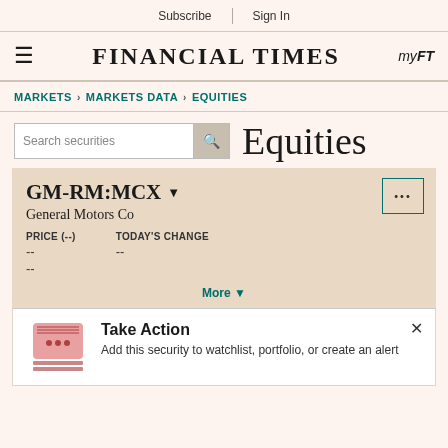Subscribe | Sign In
FINANCIAL TIMES
myFT
MARKETS > MARKETS DATA > EQUITIES
Search securities
Equities
GM-RM:MCX
General Motors Co
| PRICE (--) | TODAY'S CHANGE |
| --- | --- |
| -- | -- |
| -- |  |
More ▼
Take Action
Add this security to watchlist, portfolio, or create an alert